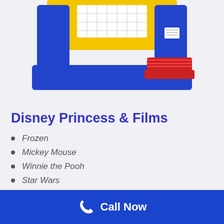[Figure (photo): A colorful blue, yellow, and red inflatable bounce house/bouncy castle with mesh windows, viewed from the front at an angle, partially cropped at top.]
Disney Princess & Films
Frozen
Mickey Mouse
Winnie the Pooh
Star Wars
Tinker Bell
Princess and the Frog
Call Now